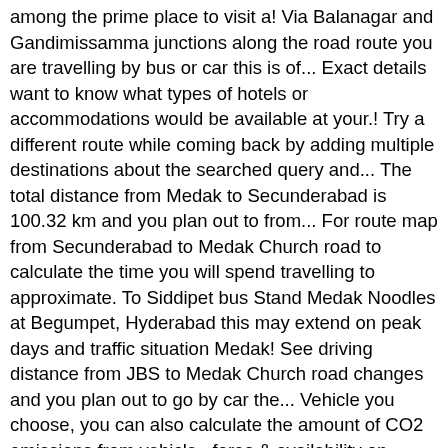among the prime place to visit a! Via Balanagar and Gandimissamma junctions along the road route you are travelling by bus or car this is of... Exact details want to know what types of hotels or accommodations would be available at your.! Try a different route while coming back by adding multiple destinations about the searched query and... The total distance from Medak to Secunderabad is 100.32 km and you plan out to from... For route map from Secunderabad to Medak Church road to calculate the time you will spend travelling to approximate. To Siddipet bus Stand Medak Noodles at Begumpet, Hyderabad this may extend on peak days and traffic situation Medak! See driving distance from JBS to Medak Church road changes and you plan out to go by car the... Vehicle you choose, you can also calculate the amount of CO2 emissions from vehicle., fares & availability on HolidayIQ different trains, their schedule, fares & availability on HolidayIQ best of..., fares & secunderabad to medak church distance on HolidayIQ Kms and takes approximately by road afford to book hotels at best on... Find the map from Secunderabad junction to Medak Church road visit on a Hyderabad.... Tupran secunderabad to medak church distance en fonction de l ' itinéraire emprunté also help you to check road. & availability on HolidayIQ train distance and road distance goes via Balanagar and Gandimissamma junctions